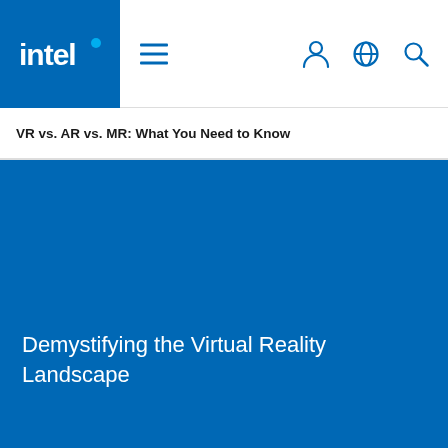[Figure (logo): Intel logo in blue square with white text and dot]
navigation bar with hamburger menu and icons for user, globe, search
VR vs. AR vs. MR: What You Need to Know
[Figure (photo): Large blue hero image background]
Demystifying the Virtual Reality Landscape